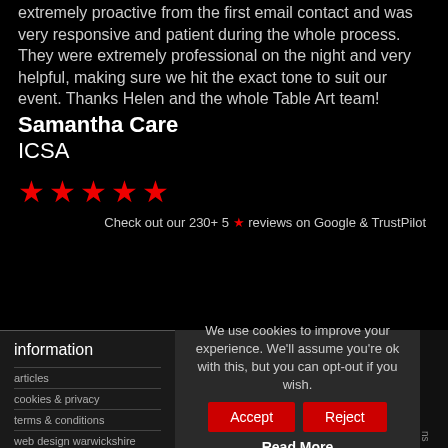extremely proactive from the first email contact and was very responsive and patient during the whole process. They were extremely professional on the night and very helpful, making sure we hit the exact tone to suit our event. Thanks Helen and the whole Table Art team!
Samantha Care
ICSA
[Figure (other): Five red star rating icons]
Check out our 230+ 5 ★ reviews on Google & TrustPilot
information
articles
cookies & privacy
terms & conditions
web design warwickshire
We use cookies to improve your experience. We'll assume you're ok with this, but you can opt-out if you wish.
Accept
Reject
Read More